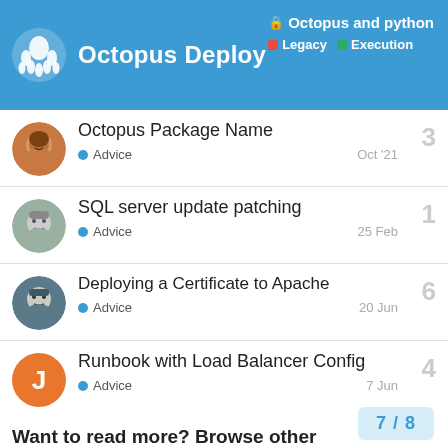Octopus Deploy | Octopus and python | Legacy | Execution
Octopus Package Name | Advice | Oct '21 | 3 replies
SQL server update patching | Advice | 25 Feb | 1 reply
Deploying a Certificate to Apache | Advice | 20 Jun | 6 replies
Runbook with Load Balancer Config | Advice | 7 Jun | 4 replies
Microsoft Synapse Workspace Deployment | Advice | 23d | 1 reply
Want to read more? Browse other
7 / 8